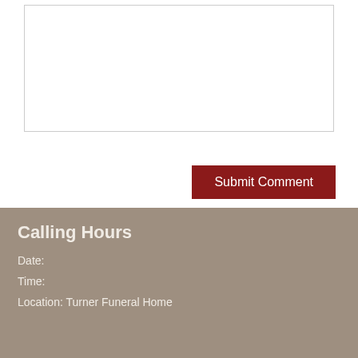[Figure (other): Text area input box with resize handle in bottom-right corner]
Submit Comment
Calling Hours
Date:
Time:
Location: Turner Funeral Home
Funeral Service